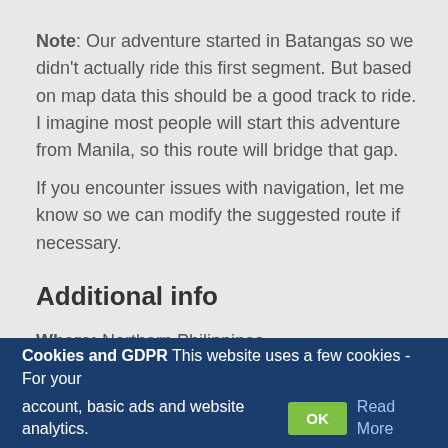Note: Our adventure started in Batangas so we didn't actually ride this first segment. But based on map data this should be a good track to ride. I imagine most people will start this adventure from Manila, so this route will bridge that gap.
If you encounter issues with navigation, let me know so we can modify the suggested route if necessary.
Additional info
Where: Northern Philippines
Distance: 70km / 44miles
Cookies and GDPR This website uses a few cookies - For your account, basic ads and website analytics. OK Read More